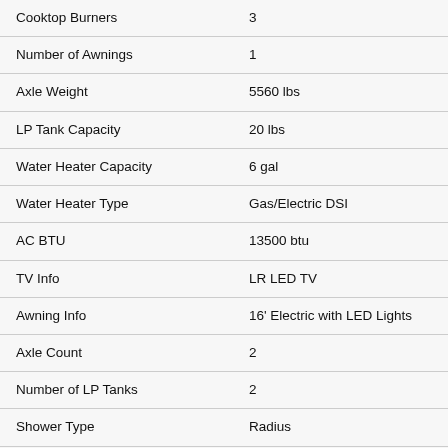| Feature | Value |
| --- | --- |
| Cooktop Burners | 3 |
| Number of Awnings | 1 |
| Axle Weight | 5560 lbs |
| LP Tank Capacity | 20 lbs |
| Water Heater Capacity | 6 gal |
| Water Heater Type | Gas/Electric DSI |
| AC BTU | 13500 btu |
| TV Info | LR LED TV |
| Awning Info | 16' Electric with LED Lights |
| Axle Count | 2 |
| Number of LP Tanks | 2 |
| Shower Type | Radius |
| Electrical Service | 30 amp |